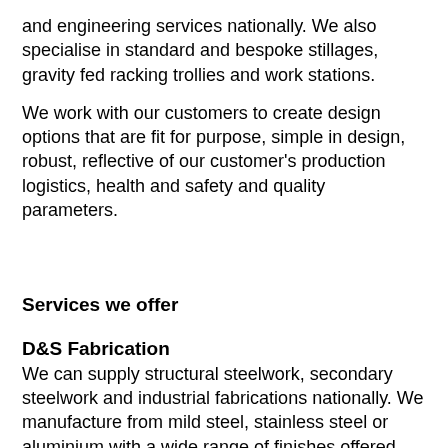and engineering services nationally. We also specialise in standard and bespoke stillages, gravity fed racking trollies and work stations.
We work with our customers to create design options that are fit for purpose, simple in design, robust, reflective of our customer's production logistics, health and safety and quality parameters.
Services we offer
D&S Fabrication
We can supply structural steelwork, secondary steelwork and industrial fabrications nationally. We manufacture from mild steel, stainless steel or aluminium with a wide range of finishes offered.
We can fabricate structural and secondary steelwork in support of construction projects of all sizes. All of our fabrications are undertaken in accordance with BS5950 – 1:2000. All of our structural steel is CE marked and we have